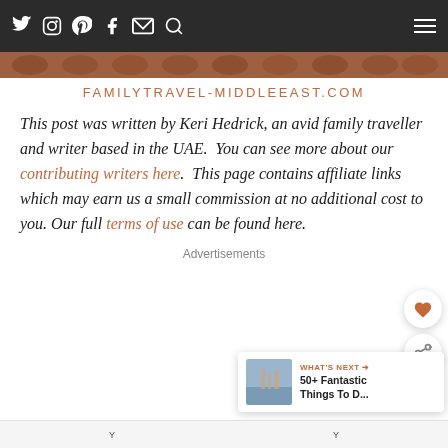familytravel-middleeast.com — navigation bar with social icons (Twitter, Instagram, Pinterest, Facebook, Email, Search) and hamburger menu
[Figure (photo): Flower/nature image strip banner]
FAMILYTRAVEL-MIDDLEEAST.COM
This post was written by Keri Hedrick, an avid family traveller and writer based in the UAE.  You can see more about our contributing writers here.  This page contains affiliate links which may earn us a small commission at no additional cost to you. Our full terms of use can be found here.
Advertisements
[Figure (screenshot): What's Next widget showing cityscape thumbnail with text '50+ Fantastic Things To D...']